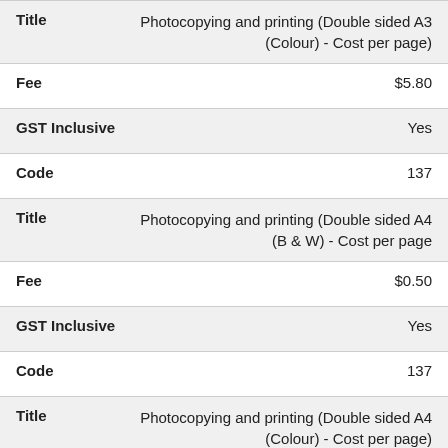| Field | Value |
| --- | --- |
| Title | Photocopying and printing (Double sided A3 (Colour) - Cost per page) |
| Fee | $5.80 |
| GST Inclusive | Yes |
| Code | 137 |
| Title | Photocopying and printing (Double sided A4 (B & W) - Cost per page |
| Fee | $0.50 |
| GST Inclusive | Yes |
| Code | 137 |
| Title | Photocopying and printing (Double sided A4 (Colour) - Cost per page) |